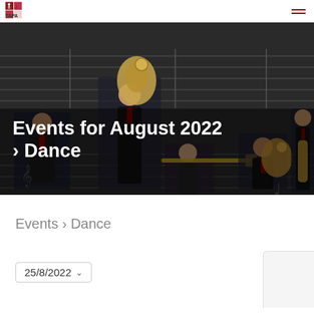TAPA logo and navigation menu
[Figure (photo): Five musicians in black attire holding brass instruments (tuba, trombone, saxophone) posed against a dark background with musical notation elements. One musician is a woman in a patterned dress playing trombone.]
Events for August 2022 › Dance
Events › Dance
25/8/2022